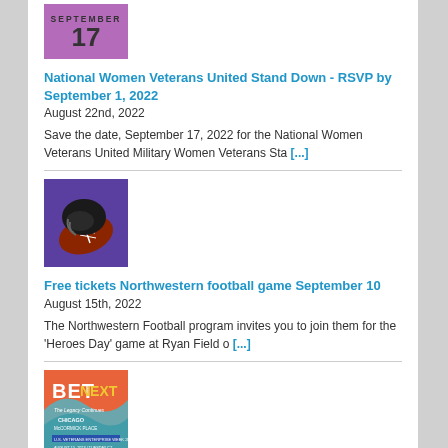[Figure (illustration): Purple calendar icon showing SEPTEMBER 17]
National Women Veterans United Stand Down - RSVP by September 1, 2022
August 22nd, 2022
Save the date, September 17, 2022 for the National Women Veterans United Military Women Veterans Sta [...]
[Figure (photo): Football and helmet on purple background]
Free tickets Northwestern football game September 10
August 15th, 2022
The Northwestern Football program invites you to join them for the 'Heroes Day' game at Ryan Field o [...]
[Figure (illustration): BET NEXT The Legacy Continues Chicago McCormick Place event flyer]